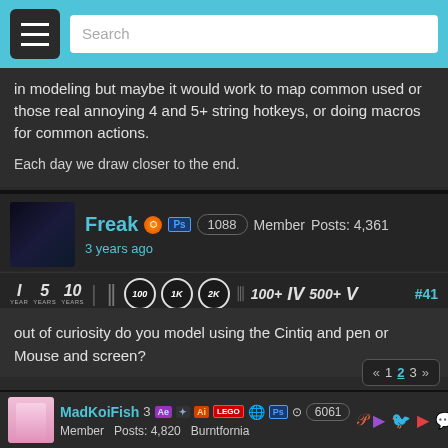Search
in modeling but maybe it would work to map common used or those real annoying 4 and 5+ string hotkeys, or doing macros for common actions.
Each day we draw closer to the end.
Freak   1088   Member   Posts: 4,361
3 years ago
#41
out of curiosity do you model using the Cintiq and pen or Mouse and screen?
MadKoiFish   3   Member   Posts: 4,820   Burntfornia   6061